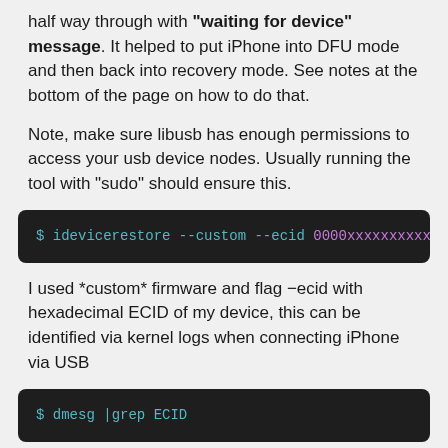half way through with "waiting for device" message. It helped to put iPhone into DFU mode and then back into recovery mode. See notes at the bottom of the page on how to do that.
Note, make sure libusb has enough permissions to access your usb device nodes. Usually running the tool with "sudo" should ensure this.
[Figure (screenshot): Terminal command: $ idevicerestore --custom --ecid 0000xxxxxxxxxxx -e /Serv]
I used *custom* firmware and flag -ecid with hexadecimal ECID of my device, this can be identified via kernel logs when connecting iPhone via USB
[Figure (screenshot): Terminal command: $ dmesg |grep ECID]